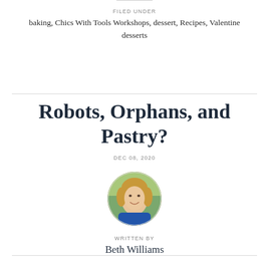FILED UNDER
baking, Chics With Tools Workshops, dessert, Recipes, Valentine desserts
Robots, Orphans, and Pastry?
DEC 08, 2020
[Figure (photo): Circular portrait photo of Beth Williams, a smiling woman with curly blonde hair wearing a blue top, outdoors with green background.]
WRITTEN BY
Beth Williams